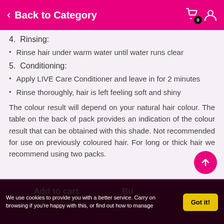Back to Category
4.  Rinsing:
Rinse hair under warm water until water runs clear
5.  Conditioning:
Apply LIVE Care Conditioner and leave in for 2 minutes
Rinse thoroughly, hair is left feeling soft and shiny
The colour result will depend on your natural hair colour. The table on the back of pack provides an indication of the colour result that can be obtained with this shade. Not recommended for use on previously coloured hair. For long or thick hair we recommend using two packs.
Add to cart | Buy Now | We use cookies to provide you with a better service. Carry on browsing if you're happy with this, or find out how to manage | Got it!